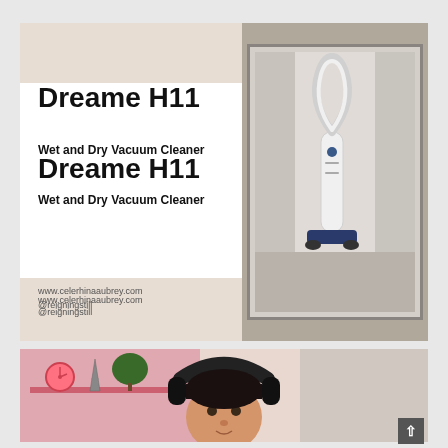Dreame H11
Wet and Dry Vacuum Cleaner
www.celerhinaaubrey.com
@reigningstill
[Figure (photo): White Dreame H11 wet and dry vacuum cleaner standing upright in a hallway/bathroom corridor]
[Figure (photo): Young girl wearing black headphones, sitting in a colorful room with pink shelves, toys, and a clock in the background]